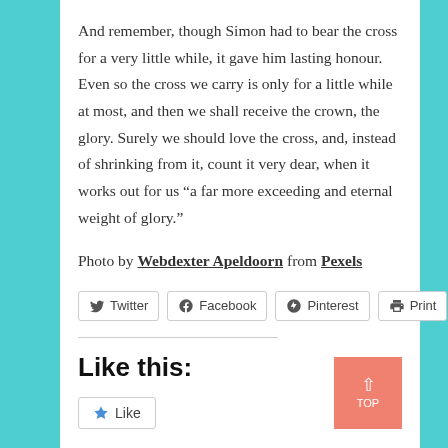And remember, though Simon had to bear the cross for a very little while, it gave him lasting honour. Even so the cross we carry is only for a little while at most, and then we shall receive the crown, the glory. Surely we should love the cross, and, instead of shrinking from it, count it very dear, when it works out for us “a far more exceeding and eternal weight of glory.”
Photo by Webdexter Apeldoorn from Pexels
Twitter  Facebook  Pinterest  Print
Like this:
Like